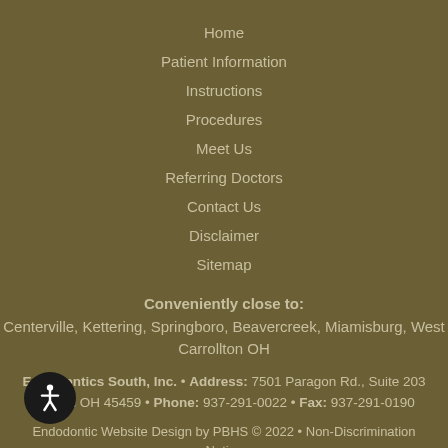Home
Patient Information
Instructions
Procedures
Meet Us
Referring Doctors
Contact Us
Disclaimer
Sitemap
Conveniently close to:
Centerville, Kettering, Springboro, Beavercreek, Miamisburg, West Carrollton OH
Endodontics South, Inc. • Address: 7501 Paragon Rd., Suite 203 Dayton OH 45459 • Phone: 937-291-0022 • Fax: 937-291-0190
Endodontic Website Design by PBHS © 2022 • Non-Discrimination Notice